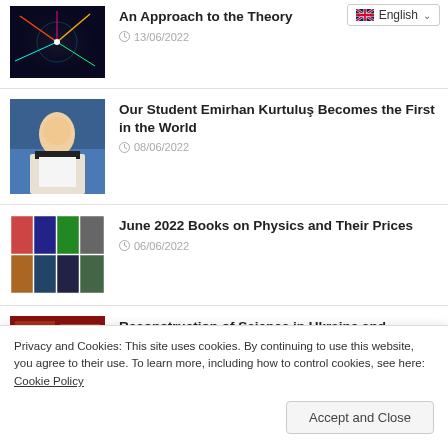[Figure (photo): Particle physics collision image thumbnail]
An Approach to the Theory
13/06/2022
[Figure (photo): Student Emirhan Kurtuluş portrait photo]
Our Student Emirhan Kurtuluş Becomes the First in the World
08/06/2022
[Figure (photo): Grid of physics book covers]
June 2022 Books on Physics and Their Prices
06/06/2022
[Figure (photo): Ukraine reconstruction scene thumbnail]
Reconstruction of Science in Ukraine and Isolation of Russia
Privacy and Cookies: This site uses cookies. By continuing to use this website, you agree to their use. To learn more, including how to control cookies, see here: Cookie Policy